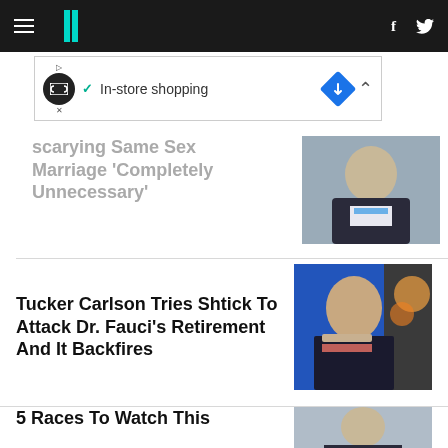HuffPost navigation with hamburger menu, logo, Facebook and Twitter icons
[Figure (screenshot): Advertisement banner: In-store shopping ad with play button, infinite loop icon, checkmark, blue diamond icon]
...scarying Same Sex Marriage 'Completely Unnecessary'
[Figure (photo): Elderly man in dark suit with blue tie, looking stern]
Tucker Carlson Tries Shtick To Attack Dr. Fauci's Retirement And It Backfires
[Figure (photo): Tucker Carlson in front of blue background on TV set with bokeh lights behind]
5 Races To Watch This
[Figure (photo): Partial photo of a person with grey hair]